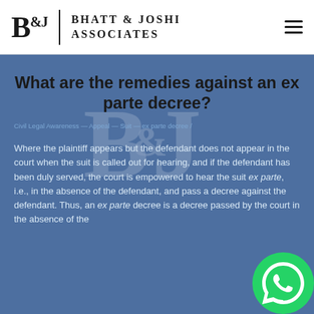Bhatt & Joshi Associates
What are the remedies against an ex parte decree?
Civil Legal Awareness — Appeal — Suit — ex parte decree /
Where the plaintiff appears but the defendant does not appear in the court when the suit is called out for hearing, and if the defendant has been duly served, the court is empowered to hear the suit ex parte, i.e., in the absence of the defendant, and pass a decree against the defendant. Thus, an ex parte decree is a decree passed by the court in the absence of the